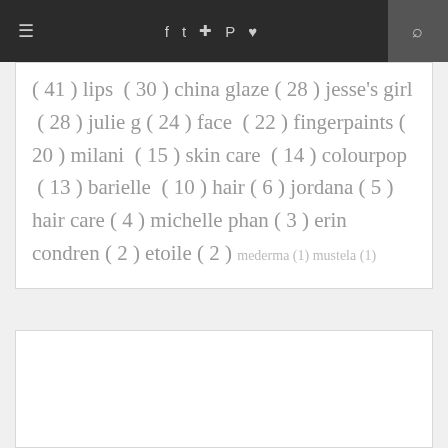≡  f  t  ☷  ℗  ♥  🔍
( 41 ) lips ( 30 ) china glaze ( 28 ) jesse's girl ( 28 ) julie g ( 24 ) face ( 22 ) fingerpaints ( 20 ) milani ( 15 ) skin care ( 14 ) colourpop ( 13 ) barielle ( 10 ) hair ( 6 ) jordana ( 5 ) hair care ( 4 ) michelle phan ( 3 ) erin condren ( 2 ) etoile ( 2 ) mederma (1) mustela (1)